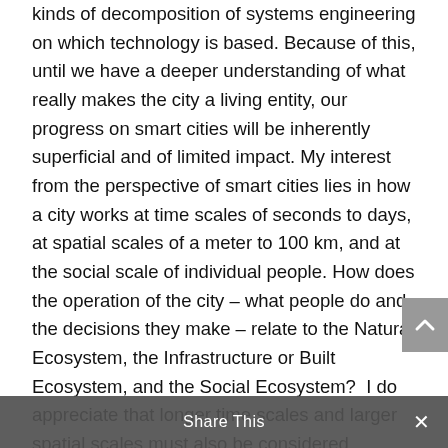kinds of decomposition of systems engineering on which technology is based. Because of this, until we have a deeper understanding of what really makes the city a living entity, our progress on smart cities will be inherently superficial and of limited impact. My interest from the perspective of smart cities lies in how a city works at time scales of seconds to days, at spatial scales of a meter to 100 km, and at the social scale of individual people. How does the operation of the city – what people do and the decisions they make – relate to the Natural Ecosystem, the Infrastructure or Built Ecosystem, and the Social Ecosystem?  I do appreciate that longer time scales and larger spatial scales must also be considered.

In this article I ask: if we want to develop an understanding of how cities work, how would we go about this? The following...
[Figure (other): Scroll-to-top button (grey arrow up icon) overlaid on the right side of the text]
[Figure (other): Share This bar at the bottom of the page with a close (x) button]